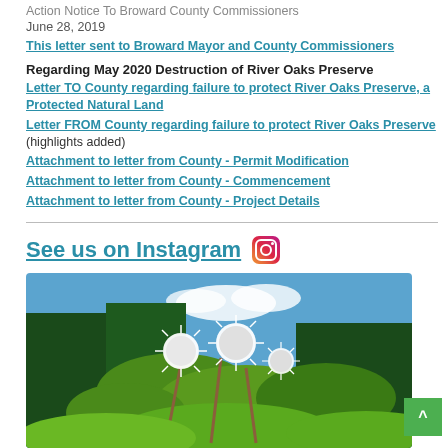Action Notice To Broward County Commissioners
June 28, 2019
This letter sent to Broward Mayor and County Commissioners
Regarding May 2020 Destruction of River Oaks Preserve
Letter TO County regarding failure to protect River Oaks Preserve, a Protected Natural Land
Letter FROM County regarding failure to protect River Oaks Preserve (highlights added)
Attachment to letter from County - Permit Modification
Attachment to letter from County - Commencement
Attachment to letter from County - Project Details
See us on Instagram
[Figure (photo): Photo of white fluffy flowers (buttonbush or similar) with green leaves against a blue sky with clouds]